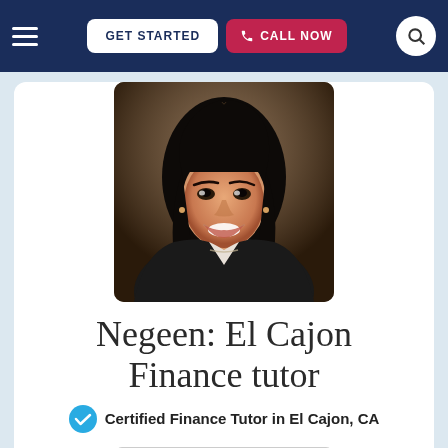≡  GET STARTED  CALL NOW  🔍
[Figure (photo): Professional headshot of a young woman with long dark hair, wearing a black blazer over a light-colored blouse, smiling, photographed against a blurred background]
Negeen: El Cajon Finance tutor
✔ Certified Finance Tutor in El Cajon, CA
CALL NOW